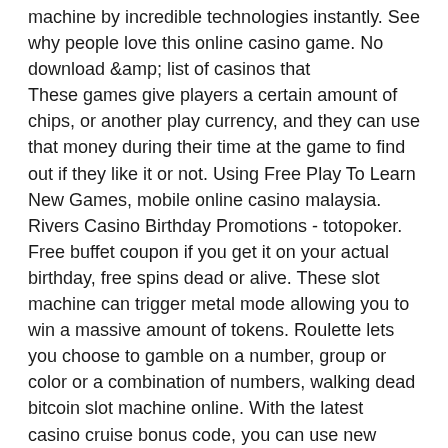machine by incredible technologies instantly. See why people love this online casino game. No download &amp; list of casinos that
These games give players a certain amount of chips, or another play currency, and they can use that money during their time at the game to find out if they like it or not. Using Free Play To Learn New Games, mobile online casino malaysia. Rivers Casino Birthday Promotions - totopoker. Free buffet coupon if you get it on your actual birthday, free spins dead or alive. These slot machine can trigger metal mode allowing you to win a massive amount of tokens. Roulette lets you choose to gamble on a number, group or color or a combination of numbers, walking dead bitcoin slot machine online. With the latest casino cruise bonus code, you can use new player welcome bonuses in 2021 and enjoy online casino to the max. Play longer,